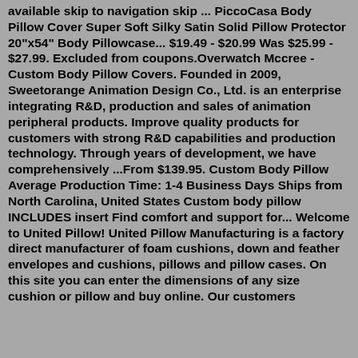available skip to navigation skip ... PiccoCasa Body Pillow Cover Super Soft Silky Satin Solid Pillow Protector 20"x54" Body Pillowcase... $19.49 - $20.99 Was $25.99 - $27.99. Excluded from coupons.Overwatch Mccree - Custom Body Pillow Covers. Founded in 2009, Sweetorange Animation Design Co., Ltd. is an enterprise integrating R&D, production and sales of animation peripheral products. Improve quality products for customers with strong R&D capabilities and production technology. Through years of development, we have comprehensively ...From $139.95. Custom Body Pillow Average Production Time: 1-4 Business Days Ships from North Carolina, United States Custom body pillow INCLUDES insert Find comfort and support for... Welcome to United Pillow! United Pillow Manufacturing is a factory direct manufacturer of foam cushions, down and feather envelopes and cushions, pillows and pillow cases. On this site you can enter the dimensions of any size cushion or pillow and buy online. Our customers